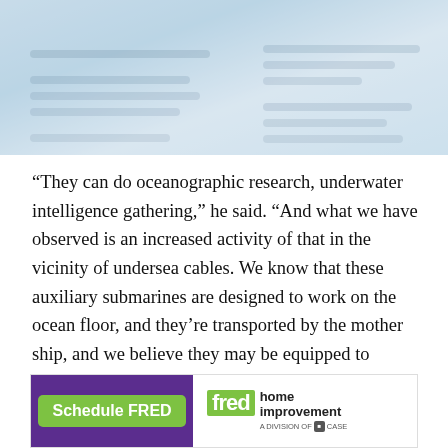[Figure (photo): Blurred/partially visible image at top of page, appears to be a map or nautical chart with blue-grey tones, overlaid with blurred text lines on left and right sides]
“They can do oceanographic research, underwater intelligence gathering,” he said. “And what we have observed is an increased activity of that in the vicinity of undersea cables. We know that these auxiliary submarines are designed to work on the ocean floor, and they’re transported by the mother ship, and we believe they may be equipped to manipulate objects on the ocean floor.”
[Figure (infographic): Advertisement banner for 'fred home improvement, a division of CASE'. Contains green 'Schedule FRED' button on purple background on left, and fred logo with 'home improvement / A DIVISION OF CASE' text on white background on right.]